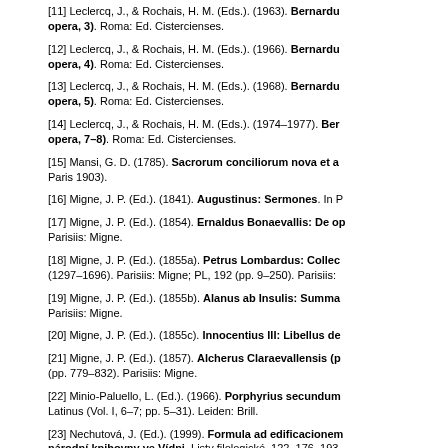[11] Leclercq, J., & Rochais, H. M. (Eds.). (1963). Bernardu... opera, 3). Roma: Ed. Cistercienses.
[12] Leclercq, J., & Rochais, H. M. (Eds.). (1966). Bernardu... opera, 4). Roma: Ed. Cistercienses.
[13] Leclercq, J., & Rochais, H. M. (Eds.). (1968). Bernardu... opera, 5). Roma: Ed. Cistercienses.
[14] Leclercq, J., & Rochais, H. M. (Eds.). (1974–1977). Ber... opera, 7–8). Roma: Ed. Cistercienses.
[15] Mansi, G. D. (1785). Sacrorum conciliorum nova et a... Paris 1903).
[16] Migne, J. P. (Ed.). (1841). Augustinus: Sermones. In P...
[17] Migne, J. P. (Ed.). (1854). Ernaldus Bonaevallis: De op... Parisiis: Migne.
[18] Migne, J. P. (Ed.). (1855a). Petrus Lombardus: Collec... (1297–1696). Parisiis: Migne; PL, 192 (pp. 9–250). Parisiis:
[19] Migne, J. P. (Ed.). (1855b). Alanus ab Insulis: Summa... Parisiis: Migne.
[20] Migne, J. P. (Ed.). (1855c). Innocentius III: Libellus de...
[21] Migne, J. P. (Ed.). (1857). Alcherus Claraevallensis (p... (pp. 779–832). Parisiis: Migne.
[22] Minio-Paluello, L. (Ed.). (1966). Porphyrius secundum... Latinus (Vol. I, 6–7; pp. 5–31). Leiden: Brill.
[23] Nechutová, J. (Ed.). (1999). Formula ad edificacionem... národní knihovny ve Vídni. Listy filologické, 122, 176–193.
[24] Rochais, H. M. (Ed.). (1957). Defensor Locogiacensis... Brepols.